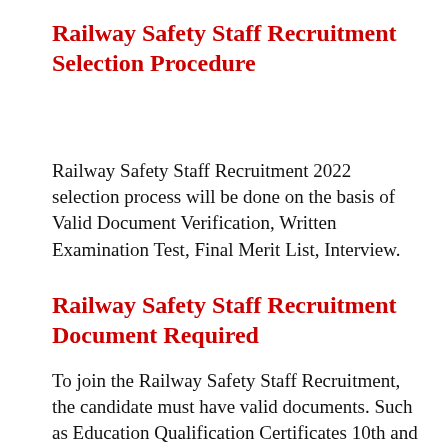Railway Safety Staff Recruitment Selection Procedure
Railway Safety Staff Recruitment 2022 selection process will be done on the basis of Valid Document Verification, Written Examination Test, Final Merit List, Interview.
Railway Safety Staff Recruitment Document Required
To join the Railway Safety Staff Recruitment, the candidate must have valid documents. Such as Education Qualification Certificates 10th and 12th pass, Pan Card, Bank Account, Photograph, Aadhar Card, Other Document.